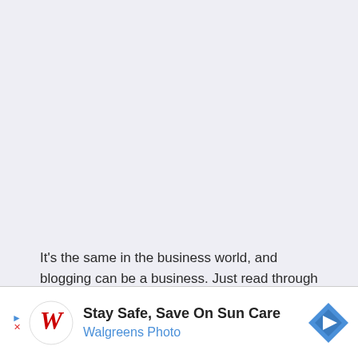It's the same in the business world, and blogging can be a business. Just read through some of the posts here at Profitable Mommy Blogging and listen to the podcasts and you will understand that there is more to this then just typing and a nice looking blog.

So where do you go to ask for help in the business world? Me- I choose to consult upon the amazing brain power at Mom Masterminds. When I say brain power- I mean it. Some of the biggest names of work at home moms are Mastermind
[Figure (other): Walgreens Photo advertisement banner: Stay Safe, Save On Sun Care. Features Walgreens cursive logo and a blue diamond-shaped directional sign icon.]